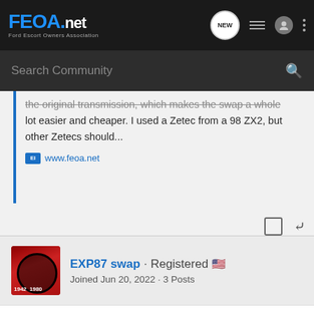FEOA.net Ford Escort Owners Association
the original transmission, which makes the swap a whole lot easier and cheaper. I used a Zetec from a 98 ZX2, but other Zetecs should...
www.feoa.net
EXP87 swap · Registered 🇺🇸
Joined Jun 20, 2022 · 3 Posts
Discussion Starter · #9 · Jun 21, 2022